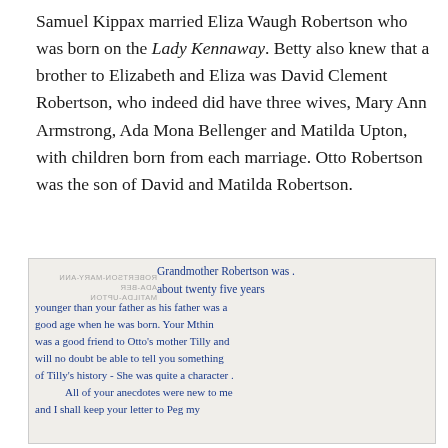Samuel Kippax married Eliza Waugh Robertson who was born on the Lady Kennaway. Betty also knew that a brother to Elizabeth and Eliza was David Clement Robertson, who indeed did have three wives, Mary Ann Armstrong, Ada Mona Bellenger and Matilda Upton, with children born from each marriage. Otto Robertson was the son of David and Matilda Robertson.
[Figure (photo): A handwritten letter on aged paper with a partially visible rubber stamp/postmark on the left. The handwriting is in blue ink and reads: 'Grandmother Robertson was about twenty five years younger than your father as his father was a good age when he was born. Your Mthin was a good friend to Otto's mother Tilly and will no doubt be able to tell you something of Tilly's history - She was quite a character. All of your anecdotes were new to me and I shall keep your letter to Peg my...']